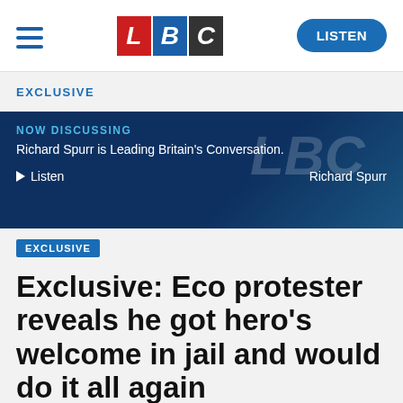LBC — LISTEN
EXCLUSIVE
[Figure (screenshot): LBC Now Discussing banner: NOW DISCUSSING / Richard Spurr is Leading Britain's Conversation. / Listen — Richard Spurr]
EXCLUSIVE
Exclusive: Eco protester reveals he got hero's welcome in jail and would do it all again